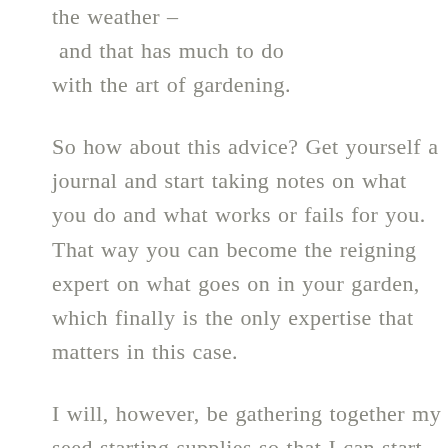the weather – and that has much to do with the art of gardening.
So how about this advice? Get yourself a journal and start taking notes on what you do and what works or fails for you. That way you can become the reigning expert on what goes on in your garden, which finally is the only expertise that matters in this case.
I will, however, be gathering together my seed starting supplies so that I can start some plants early this year. Even if I'm not quite ready to plant the seeds.